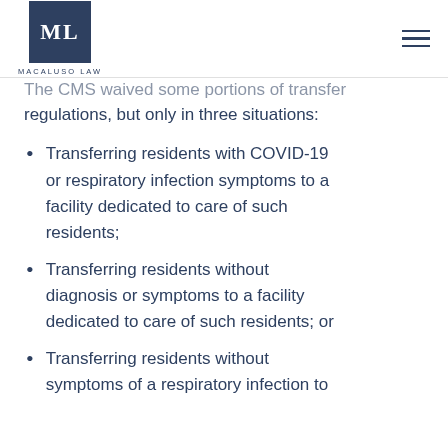ML MACALUSO LAW
The CMS waived some portions of transfer regulations, but only in three situations:
Transferring residents with COVID-19 or respiratory infection symptoms to a facility dedicated to care of such residents;
Transferring residents without diagnosis or symptoms to a facility dedicated to care of such residents; or
Transferring residents without symptoms of a respiratory infection to